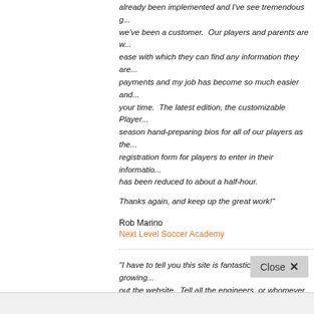already been implemented and I've see tremendous g... we've been a customer. Our players and parents are w... ease with which they can find any information they are... payments and my job has become so much easier and... your time. The latest edition, the customizable Player... season hand-preparing bios for all of our players as th... registration form for players to enter in their informatio... has been reduced to about a half-hour.
Thanks again, and keep up the great work!"
Rob Marino
Next Level Soccer Academy
"I have to tell you this site is fantastic. We are growing... out the website. Tell all the engineers, or whomever, t...
Jerry Consie
Duluth Youth Lacrosse Association
"We're loving this new website! It's such an improveme... Good work!"
Lisa Levine